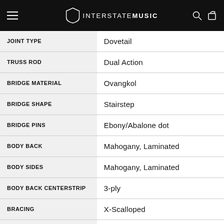Interstate Music
| Attribute | Value |
| --- | --- |
| JOINT TYPE | Dovetail |
| TRUSS ROD | Dual Action |
| BRIDGE MATERIAL | Ovangkol |
| BRIDGE SHAPE | Stairstep |
| BRIDGE PINS | Ebony/Abalone dot |
| BODY BACK | Mahogany, Laminated |
| BODY SIDES | Mahogany, Laminated |
| BODY BACK CENTERSTRIP | 3-ply |
| BRACING | X-Scalloped |
| ROSETTE | 3-Ring (ABS & Abalone) |